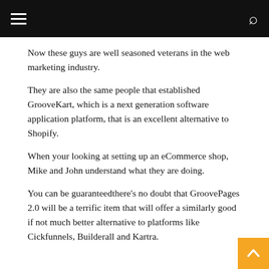[hamburger menu] [search icon]
Now these guys are well seasoned veterans in the web marketing industry.
They are also the same people that established GrooveKart, which is a next generation software application platform, that is an excellent alternative to Shopify.
When your looking at setting up an eCommerce shop, Mike and John understand what they are doing.
You can be guaranteedthere's no doubt that GroovePages 2.0 will be a terrific item that will offer a similarly good if not much better alternative to platforms like Cickfunnels, Builderall and Kartra.